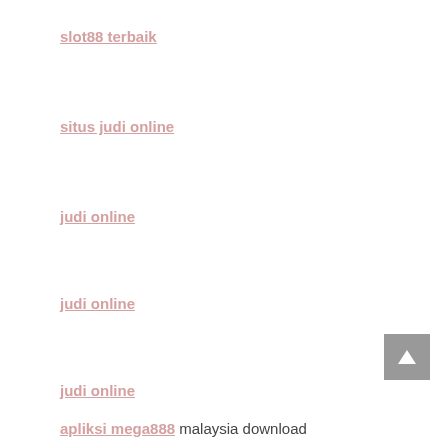slot88 terbaik
situs judi online
judi online
judi online
judi online
apliksi mega888 malaysia download